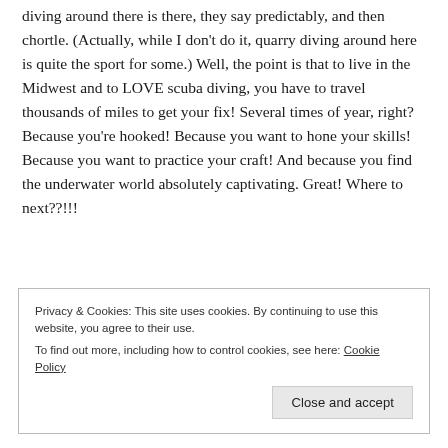diving around there is there, they say predictably, and then chortle. (Actually, while I don't do it, quarry diving around here is quite the sport for some.) Well, the point is that to live in the Midwest and to LOVE scuba diving, you have to travel thousands of miles to get your fix! Several times of year, right? Because you're hooked! Because you want to hone your skills! Because you want to practice your craft! And because you find the underwater world absolutely captivating. Great! Where to next??!!!
Privacy & Cookies: This site uses cookies. By continuing to use this website, you agree to their use. To find out more, including how to control cookies, see here: Cookie Policy
Close and accept